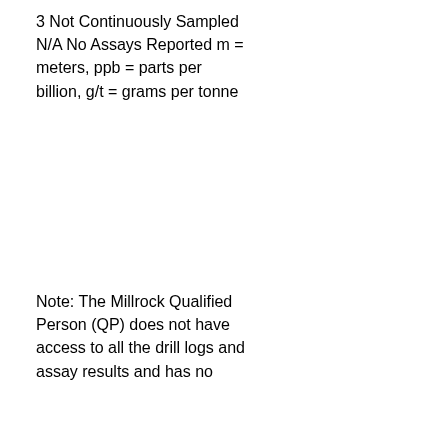3 Not Continuously Sampled N/A No Assays Reported m = meters, ppb = parts per billion, g/t = grams per tonne
Note: The Millrock Qualified Person (QP) does not have access to all the drill logs and assay results and has no